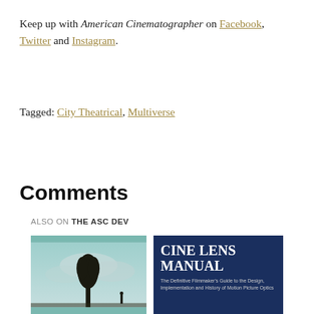Keep up with American Cinematographer on Facebook, Twitter and Instagram.
Tagged: City Theatrical, Multiverse
Comments
ALSO ON THE ASC DEV
[Figure (photo): Two thumbnail images side by side: left shows a tree silhouette against a cloudy sky, right shows a book cover reading 'CINE LENS MANUAL' on dark blue background.]